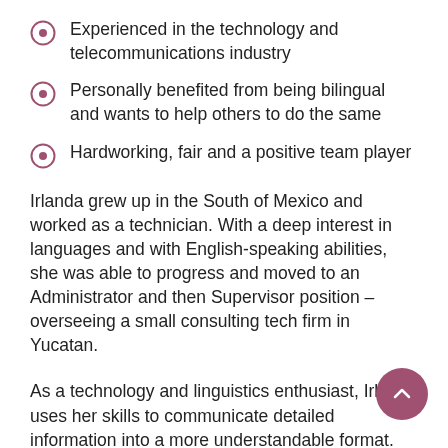Experienced in the technology and telecommunications industry
Personally benefited from being bilingual and wants to help others to do the same
Hardworking, fair and a positive team player
Irlanda grew up in the South of Mexico and worked as a technician. With a deep interest in languages and with English-speaking abilities, she was able to progress and moved to an Administrator and then Supervisor position – overseeing a small consulting tech firm in Yucatan.
As a technology and linguistics enthusiast, Irlanda uses her skills to communicate detailed information into a more understandable format. Being bilingual has not only allowed her to engage with different groups of people but it's opened up doors for opportunity. Now she wants to